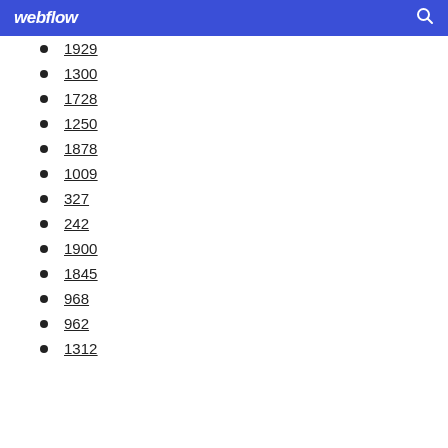webflow
1929
1300
1728
1250
1878
1009
327
242
1900
1845
968
962
1312